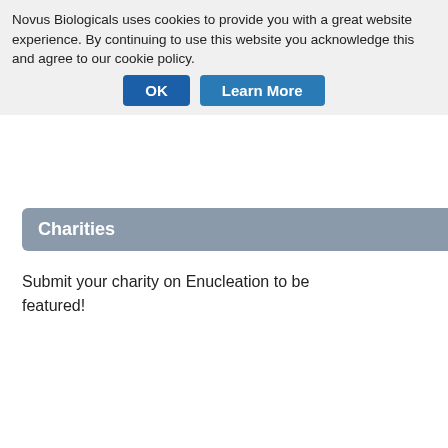Novus Biologicals uses cookies to provide you with a great website experience. By continuing to use this website you acknowledge this and agree to our cookie policy.
OK
Learn More
Submit a Video
Charities
Submit your charity on Enucleation to be featured!
Submit a Charity
Top Research Reagents
We have 2720 products for Immunocytochemistry/Immunofluorescence including antibodies and ELISA ki...
Vimentin Antibody
Chicken Polyclonal
Species Human, M...
Applications WB, ...